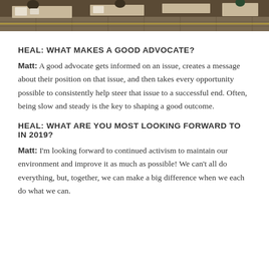[Figure (photo): Partial view of people sitting at desks in a room with a tiled floor, seen from above/side angle. The image is cropped at the top of the page.]
HEAL: WHAT MAKES A GOOD ADVOCATE?
Matt: A good advocate gets informed on an issue, creates a message about their position on that issue, and then takes every opportunity possible to consistently help steer that issue to a successful end. Often, being slow and steady is the key to shaping a good outcome.
HEAL: WHAT ARE YOU MOST LOOKING FORWARD TO IN 2019?
Matt: I'm looking forward to continued activism to maintain our environment and improve it as much as possible! We can't all do everything, but, together, we can make a big difference when we each do what we can.